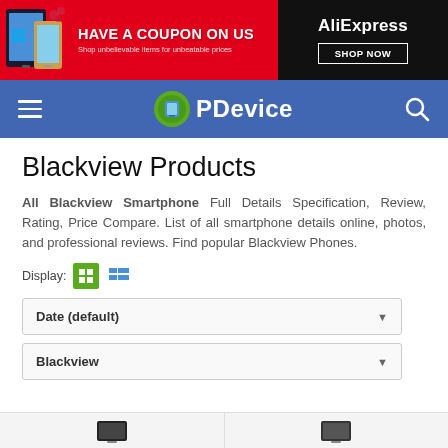[Figure (screenshot): AliExpress ad banner: red background with devices on left, 'HAVE A COUPON ON US' headline, AliExpress logo and SHOP NOW button on dark right side]
[Figure (screenshot): PDevice website navigation bar with hamburger menu, PDevice logo, and search icon on blue background]
Blackview Products
All Blackview Smartphone Full Details Specification, Review, Rating, Price Compare. List of all smartphone details online, photos, and professional reviews. Find popular Blackview Phones.
Display:
Date (default)
Blackview